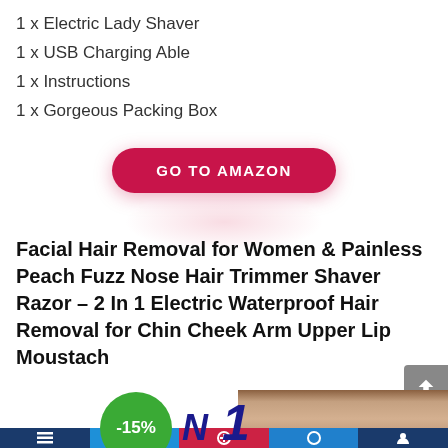1 x Electric Lady Shaver
1 x USB Charging Able
1 x Instructions
1 x Gorgeous Packing Box
GO TO AMAZON
Facial Hair Removal for Women & Painless Peach Fuzz Nose Hair Trimmer Shaver Razor – 2 In 1 Electric Waterproof Hair Removal for Chin Cheek Arm Upper Lip Moustach
[Figure (photo): Product image showing a green badge with -15%, 'N 1' text, and a woman's face]
Navigation bar with icons